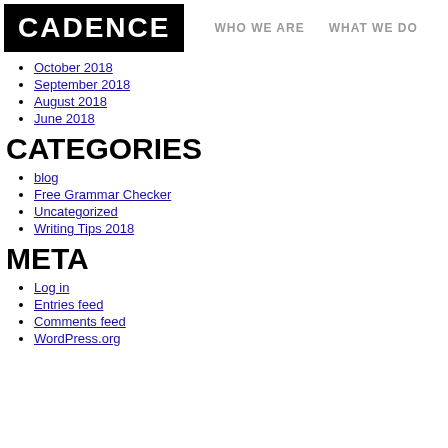CADENCE | WHO WE ARE  WHAT WE DO
October 2018
September 2018
August 2018
June 2018
CATEGORIES
blog
Free Grammar Checker
Uncategorized
Writing Tips 2018
META
Log in
Entries feed
Comments feed
WordPress.org